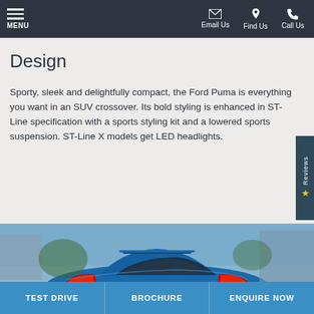MENU | Email Us | Find Us | Call Us
Design
Sporty, sleek and delightfully compact, the Ford Puma is everything you want in an SUV crossover. Its bold styling is enhanced in ST-Line specification with a sports styling kit and a lowered sports suspension. ST-Line X models get LED headlights.
[Figure (photo): Rear three-quarter view of a blue Ford Puma SUV crossover with license plate MHV 181, parked on a street]
TEST DRIVE | BROCHURE | ENQUIRE NOW